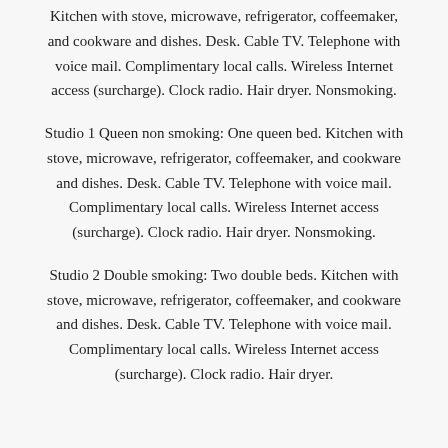Kitchen with stove, microwave, refrigerator, coffeemaker, and cookware and dishes. Desk. Cable TV. Telephone with voice mail. Complimentary local calls. Wireless Internet access (surcharge). Clock radio. Hair dryer. Nonsmoking.
Studio 1 Queen non smoking: One queen bed. Kitchen with stove, microwave, refrigerator, coffeemaker, and cookware and dishes. Desk. Cable TV. Telephone with voice mail. Complimentary local calls. Wireless Internet access (surcharge). Clock radio. Hair dryer. Nonsmoking.
Studio 2 Double smoking: Two double beds. Kitchen with stove, microwave, refrigerator, coffeemaker, and cookware and dishes. Desk. Cable TV. Telephone with voice mail. Complimentary local calls. Wireless Internet access (surcharge). Clock radio. Hair dryer.